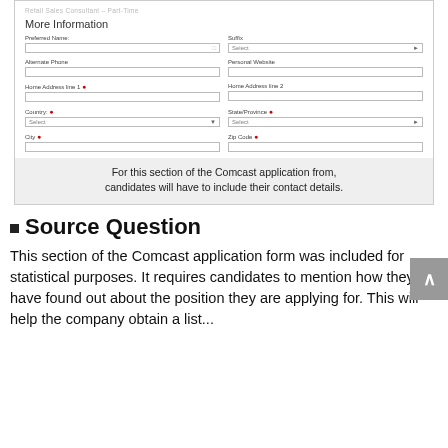[Figure (screenshot): Screenshot of a Comcast job application form showing 'More Information' section with fields: Preferred Name, Suffix (Select dropdown), Alternate Phone, Personal Website, Home Address line 1 (required), Home Address line 2, Country (required, Select dropdown), State/Province (required, Select dropdown), City (required), Zip Code (required). Red asterisks mark required fields.]
For this section of the Comcast application from, candidates will have to include their contact details.
Source Question
This section of the Comcast application form was included for statistical purposes. It requires candidates to mention how they have found out about the position they are applying for. This will help the company obtain a list...